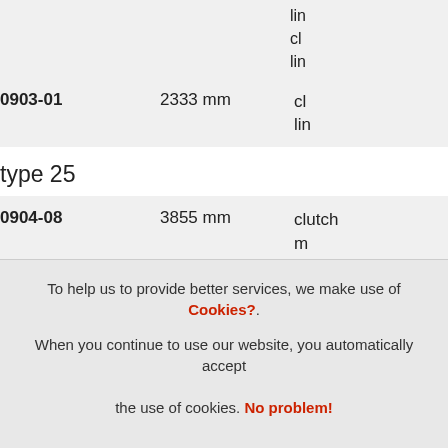| Part No. | Length | Type |
| --- | --- | --- |
| 0903-01 | 2333 mm | cl lin |
| type 25 |  |  |
| 0904-08 | 3855 mm | clutch m |
| type 25 rhd |  |  |
| 0904-12 | 3890 mm | clutch m |
To help us to provide better services, we make use of Cookies?. When you continue to use our website, you automatically accept the use of cookies. No problem!